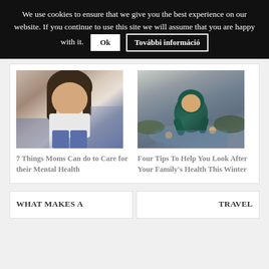We use cookies to ensure that we give you the best experience on our website. If you continue to use this site we will assume that you are happy with it.  Ok  További információ
[Figure (photo): Close-up photo of a young woman with long dark hair, wearing a white t-shirt and jeans, sitting and looking down]
7 Things Moms Can do to Care for their Mental Health
[Figure (photo): Photo of a small child wearing a green hooded raincoat, crouching and playing in a puddle in a wet outdoor environment]
Four Tips To Help You Look After Your Family's Health This Winter
WHAT MAKES A
TRAVEL